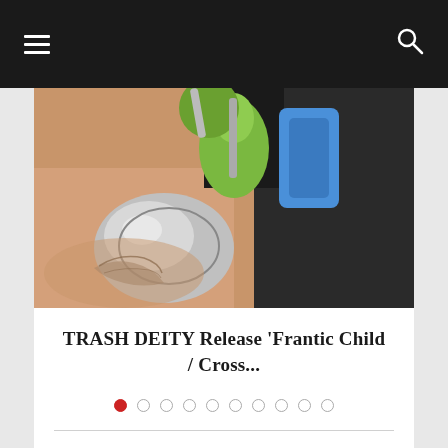Navigation bar with hamburger menu and search icon
[Figure (photo): A person leaning over colorful toy figures (green and blue figurines) and a reflective sphere, with a visible tattoo on their arm]
TRASH DEITY Release ‘Frantic Child / Cross...
Pagination dots: 1 active (red), 9 inactive
LEAVE A COMMENT